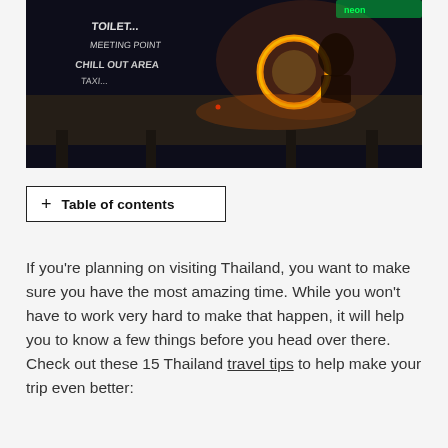[Figure (photo): Nighttime scene with a person performing a fire spinning act, with a glowing circle of fire visible. In the background are signs reading 'TOILET', 'MEETING POINT', 'CHILL OUT AREA', 'TAXI'. Dark ambient lighting with neon colors.]
+ Table of contents
If you're planning on visiting Thailand, you want to make sure you have the most amazing time. While you won't have to work very hard to make that happen, it will help you to know a few things before you head over there. Check out these 15 Thailand travel tips to help make your trip even better: